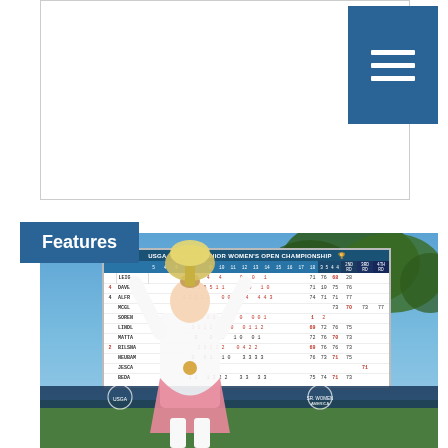history
By Women & Golf Staff
Features
[Figure (photo): A woman golfer holding a large trophy cup above her head, smiling, wearing a white long-sleeve shirt and pink skirt with a gold medal, standing in front of the USGA 4th U.S. Senior Women's Open Championship scoreboard showing final round scores, with blue sky and trees in background.]